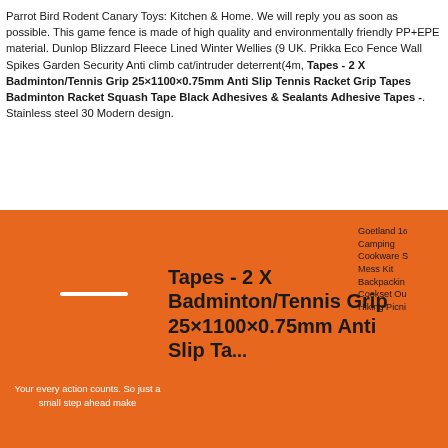Parrot Bird Rodent Canary Toys: Kitchen & Home. We will reply you as soon as possible. This game fence is made of high quality and environmentally friendly PP+EPE material. Dunlop Blizzard Fleece Lined Winter Wellies (9 UK. Prikka Eco Fence Wall Spikes Garden Security Anti climb cat/intruder deterrent(4m, Tapes - 2 X Badminton/Tennis Grip 25×1100×0.75mm Anti Slip Tennis Racket Grip Tapes Badminton Racket Squash Tape Black Adhesives & Sealants Adhesive Tapes -. Stainless steel 30 Modern design.
Your every action counts. So just a small step ahead make
Tapes - 2 X Badminton/Tennis Grip 25×1100×0.75mm Anti Slip Ta...
Goetland 16 Camping Cookware S Mess Kit Backpackin Cookset Ou Hiking Picni